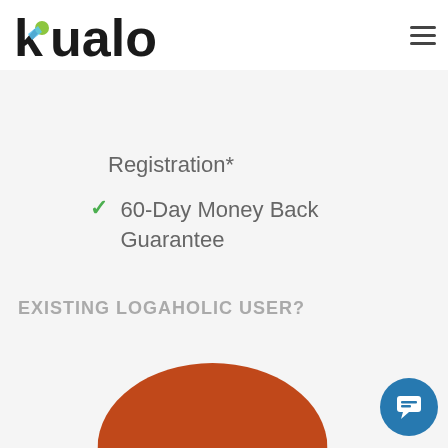[Figure (logo): Kualo logo - bold black text with colorful K icon (green and blue dots)]
Registration*
60-Day Money Back Guarantee
EXISTING LOGAHOLIC USER?
[Figure (illustration): Orange semicircle/arc shape at bottom of page]
[Figure (other): Blue circular chat/message button with white chat icon]